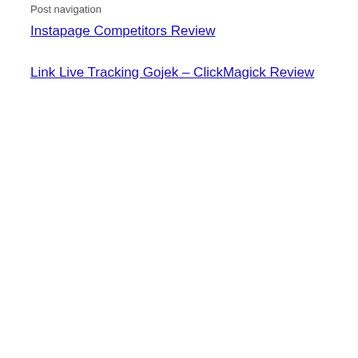Post navigation
Instapage Competitors Review
Link Live Tracking Gojek – ClickMagick Review